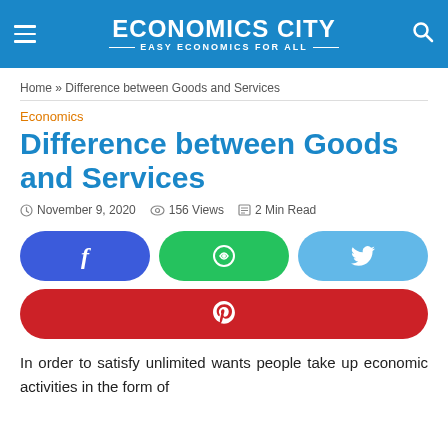ECONOMICS CITY — EASY ECONOMICS FOR ALL
Home » Difference between Goods and Services
Economics
Difference between Goods and Services
November 9, 2020   156 Views   2 Min Read
[Figure (other): Social share buttons: Facebook, WhatsApp, Twitter, Pinterest]
In order to satisfy unlimited wants people take up economic activities in the form of